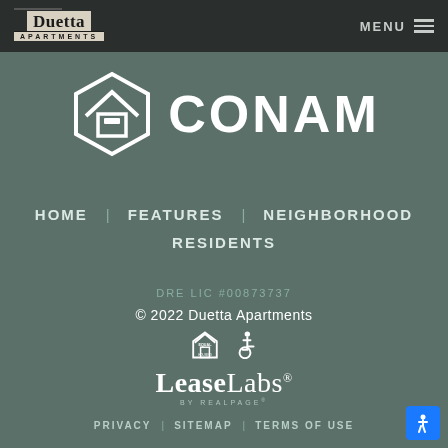[Figure (logo): Duetta Apartments logo in top left of dark header bar]
MENU ≡
[Figure (logo): CONAM property management logo with hexagon house icon on teal/green background]
HOME
FEATURES
NEIGHBORHOOD
RESIDENTS
DRE LIC #00873737
© 2022 Duetta Apartments
[Figure (logo): Equal Housing Opportunity logo and wheelchair accessibility icon]
[Figure (logo): LeaseLabs by RealPage logo]
PRIVACY | SITEMAP | TERMS OF USE